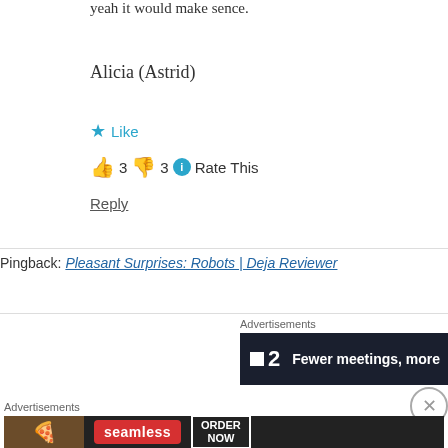yeah it would make sence.
Alicia (Astrid)
★ Like
👍 3 👎 3 ℹ Rate This
Reply
Pingback: Pleasant Surprises: Robots | Deja Reviewer
Advertisements
[Figure (screenshot): Dark advertisement banner for a productivity app showing '.2' logo and text 'Fewer meetings, more']
[Figure (screenshot): Seamless food delivery advertisement with pizza image, red Seamless logo, and 'ORDER NOW' button on dark background]
Advertisements